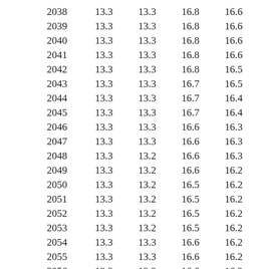| 2038 | 13.3 | 13.3 | 16.8 | 16.6 |
| 2039 | 13.3 | 13.3 | 16.8 | 16.6 |
| 2040 | 13.3 | 13.3 | 16.8 | 16.6 |
| 2041 | 13.3 | 13.3 | 16.8 | 16.6 |
| 2042 | 13.3 | 13.3 | 16.8 | 16.5 |
| 2043 | 13.3 | 13.3 | 16.7 | 16.5 |
| 2044 | 13.3 | 13.3 | 16.7 | 16.4 |
| 2045 | 13.3 | 13.3 | 16.7 | 16.4 |
| 2046 | 13.3 | 13.3 | 16.6 | 16.3 |
| 2047 | 13.3 | 13.3 | 16.6 | 16.3 |
| 2048 | 13.3 | 13.2 | 16.6 | 16.3 |
| 2049 | 13.3 | 13.2 | 16.6 | 16.2 |
| 2050 | 13.3 | 13.2 | 16.5 | 16.2 |
| 2051 | 13.3 | 13.2 | 16.5 | 16.2 |
| 2052 | 13.3 | 13.2 | 16.5 | 16.2 |
| 2053 | 13.3 | 13.2 | 16.5 | 16.2 |
| 2054 | 13.3 | 13.3 | 16.6 | 16.2 |
| 2055 | 13.3 | 13.3 | 16.6 | 16.2 |
| 2056 | 13.3 | 13.3 | 16.6 | 16.2 |
| 2057 | 13.3 | 13.3 | 16.7 | 16.3 |